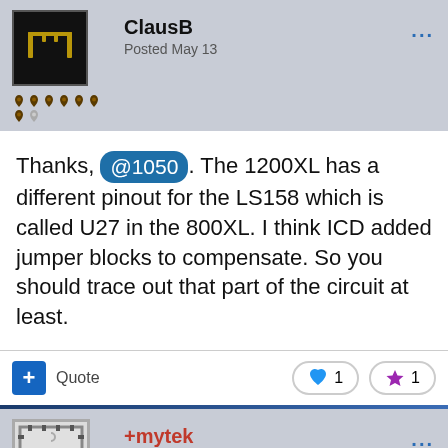ClausB — Posted May 13
Thanks, @1050. The 1200XL has a different pinout for the LS158 which is called U27 in the 800XL. I think ICD added jumper blocks to compensate. So you should trace out that part of the circuit at least.
+mytek — Posted May 13
On 5/13/2022 at 11:00 AM, 1050 said: